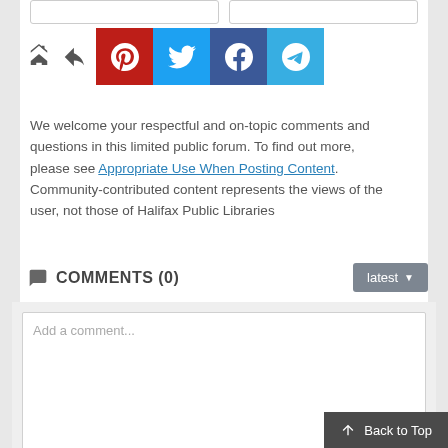[Figure (screenshot): Social share buttons row with Pinterest (red), Twitter (blue), Facebook (dark blue), and Telegram (teal) icons, preceded by a share/export icon]
We welcome your respectful and on-topic comments and questions in this limited public forum. To find out more, please see Appropriate Use When Posting Content. Community-contributed content represents the views of the user, not those of Halifax Public Libraries
COMMENTS (0)
latest
Add a comment...
Sign in to post your comment
Back to Top